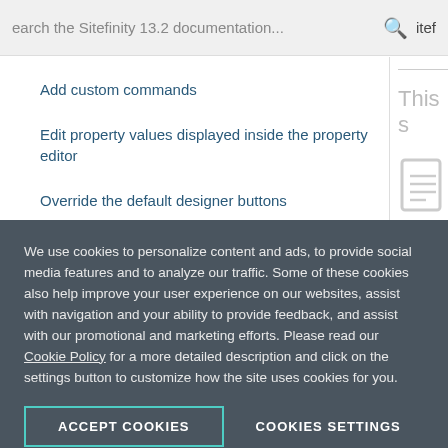earch the Sitefinity 13.2 documentation...
Add custom commands
Edit property values displayed inside the property editor
Override the default designer buttons
Use custom designer windows
Use Web Forms designer with widgets
Client components
We use cookies to personalize content and ads, to provide social media features and to analyze our traffic. Some of these cookies also help improve your user experience on our websites, assist with navigation and your ability to provide feedback, and assist with our promotional and marketing efforts. Please read our Cookie Policy for a more detailed description and click on the settings button to customize how the site uses cookies for you.
ACCEPT COOKIES
COOKIES SETTINGS